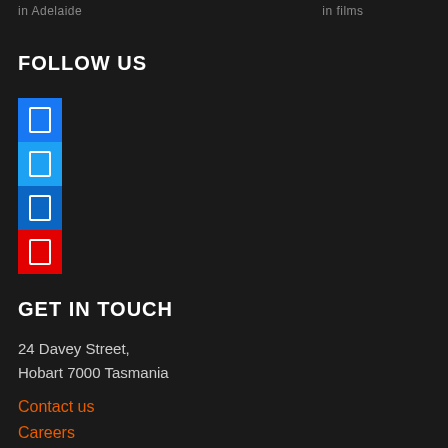in Adelaide    in films
FOLLOW US
[Figure (illustration): Four social media icon buttons stacked vertically: Facebook (blue), Twitter (light blue), LinkedIn (dark blue), YouTube (red), each showing a small white rectangle icon symbol]
GET IN TOUCH
24 Davey Street,
Hobart 7000 Tasmania
Contact us
Careers